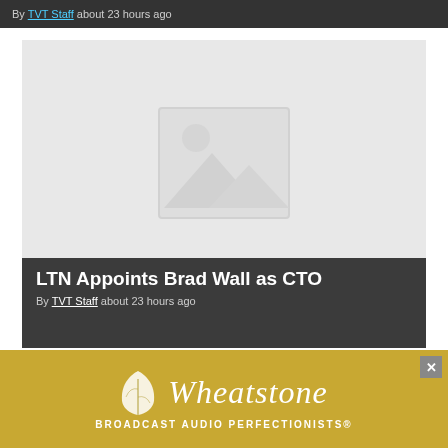By TVT Staff about 23 hours ago
[Figure (photo): Placeholder image (no image loaded) for the LTN Appoints Brad Wall as CTO article]
LTN Appoints Brad Wall as CTO
By TVT Staff about 23 hours ago
[Figure (photo): Placeholder image for a second article card (cropped at bottom)]
[Figure (other): Wheatstone BROADCAST AUDIO PERFECTIONISTS advertisement banner with leaf logo]